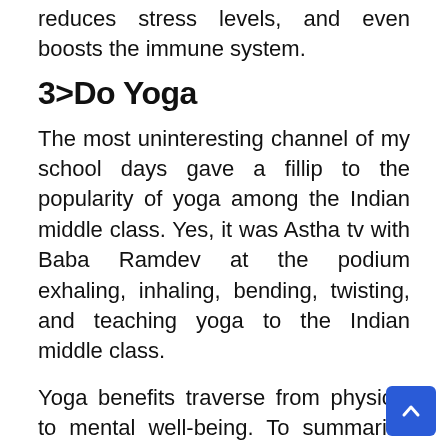reduces stress levels, and even boosts the immune system.
3>Do Yoga
The most uninteresting channel of my school days gave a fillip to the popularity of yoga among the Indian middle class. Yes, it was Astha tv with Baba Ramdev at the podium exhaling, inhaling, bending, twisting, and teaching yoga to the Indian middle class.
Yoga benefits traverse from physical to mental well-being. To summarise Yoga benefits, Yoga improves our Physical